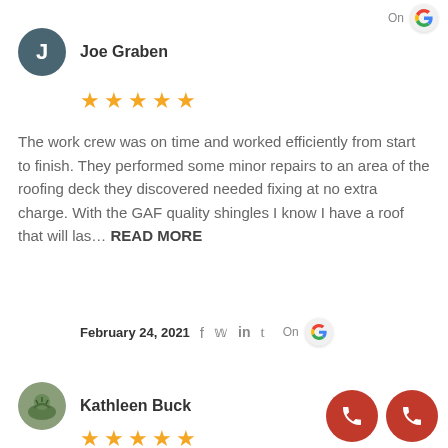On (partial, top of page)
Joe Graben
[Figure (other): 5 orange star rating]
The work crew was on time and worked efficiently from start to finish. They performed some minor repairs to an area of the roofing deck they discovered needed fixing at no extra charge. With the GAF quality shingles I know I have a roof that will las... READ MORE
February 24, 2021  f  y  in  t   On  [Google logo]
Kathleen Buck
[Figure (other): 5 orange star rating]
[Figure (other): Two red call/phone buttons]